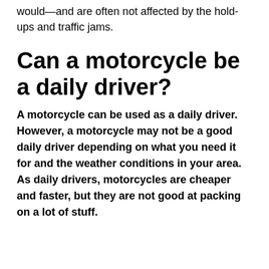would—and are often not affected by the hold-ups and traffic jams.
Can a motorcycle be a daily driver?
A motorcycle can be used as a daily driver. However, a motorcycle may not be a good daily driver depending on what you need it for and the weather conditions in your area. As daily drivers, motorcycles are cheaper and faster, but they are not good at packing on a lot of stuff.